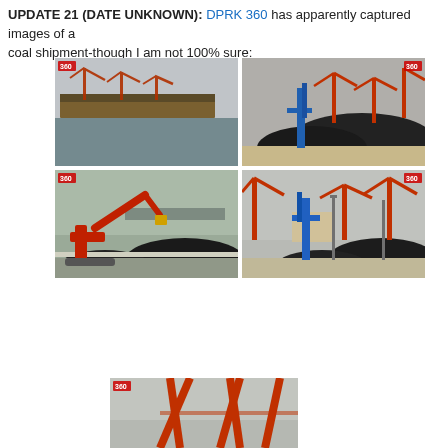UPDATE 21 (DATE UNKNOWN): DPRK 360 has apparently captured images of a coal shipment-though I am not 100% sure:
[Figure (photo): Harbor scene with large cargo ship and red port cranes visible against a hazy sky, calm water in foreground.]
[Figure (photo): Close-up of port cranes and large pile of coal/bulk material, with blue crane structure visible.]
[Figure (photo): Red excavator/crane machine working with piles of coal/bulk material at a port facility.]
[Figure (photo): Multiple large red port cranes with pile of coal/bulk material and blue crane structure at a port.]
[Figure (photo): Close-up view of red port cranes from below, partially cropped.]